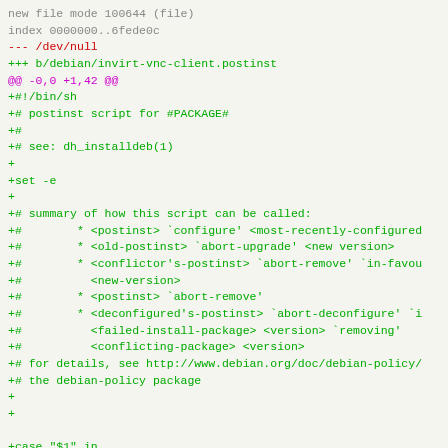[Figure (screenshot): A code diff view showing a new file being added: b/debian/invirt-vnc-client.postinst. The diff shows the file header in gray, removed lines marker in red, added lines marker in green, chunk header in magenta, and the content of the shell script in green.]